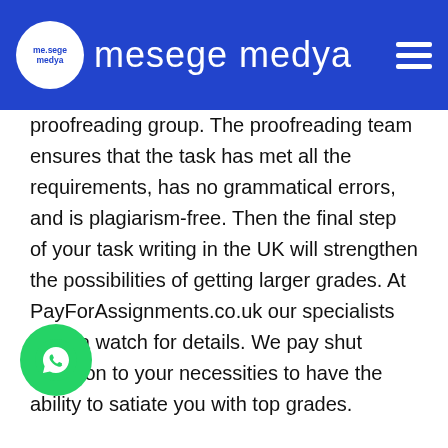mesege medya
proofreading group. The proofreading team ensures that the task has met all the requirements, has no grammatical errors, and is plagiarism-free. Then the final step of your task writing in the UK will strengthen the possibilities of getting larger grades. At PayForAssignments.co.uk our specialists have a watch for details. We pay shut attention to your necessities to have the ability to satiate you with top grades.
Unlike different firms, we don?t restrict our companies solely to writing your papers. Our group additionally proofreads and edits your doc earlier than delivering the ultimate project to you. Our proofreaders and editors check each sentence, grammar, spellings, and transition phrases to make sure the top-notch quality of your paper. History is the schooling of the